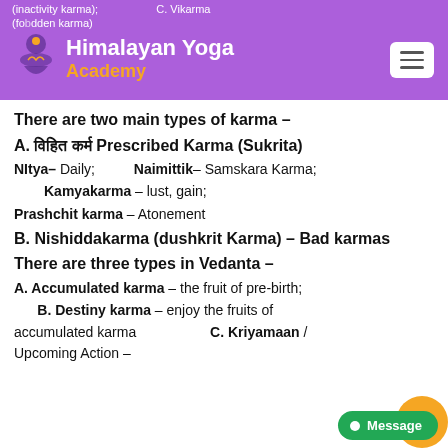(inactivity karma); C. Vikarma (forbidden karma)
Himalayan Yoga Academy
There are two main types of karma –
A. विहित कर्म Prescribed Karma (Sukrita)
NItya- Daily; Naimittik- Samskara Karma; Kamyakarma – lust, gain; Prashchit karma – Atonement
B. Nishiddakarma (dushkrit Karma) – Bad karmas
There are three types in Vedanta –
A. Accumulated karma – the fruit of pre-birth; B. Destiny karma – enjoy the fruits of accumulated karma C. Kriyamaan / Upcoming Action –